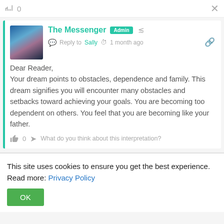0
The Messenger Admin
Reply to Sally · 1 month ago
Dear Reader,
Your dream points to obstacles, dependence and family. This dream signifies you will encounter many obstacles and setbacks toward achieving your goals. You are becoming too dependent on others. You feel that you are becoming like your father.
0  What do you think about this interpretation?
This site uses cookies to ensure you get the best experience. Read more: Privacy Policy
OK